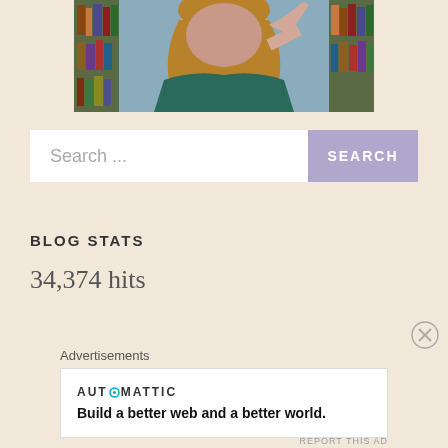[Figure (photo): Partial photo of a person (woman with light brown hair) in front of bookshelves, cropped at top of page]
Search ...
SEARCH
BLOG STATS
34,374 hits
Advertisements
AUTOMATTIC
Build a better web and a better world.